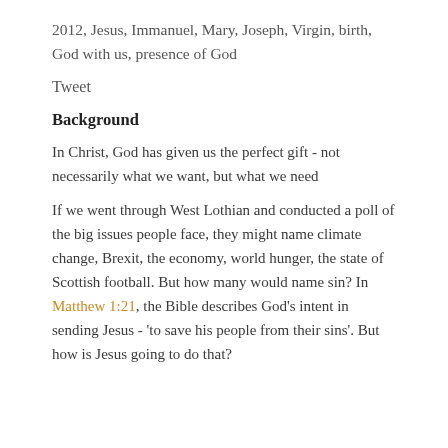2012, Jesus, Immanuel, Mary, Joseph, Virgin, birth, God with us, presence of God
Tweet
Background
In Christ, God has given us the perfect gift - not necessarily what we want, but what we need
If we went through West Lothian and conducted a poll of the big issues people face, they might name climate change, Brexit, the economy, world hunger, the state of Scottish football. But how many would name sin? In Matthew 1:21, the Bible describes God's intent in sending Jesus - 'to save his people from their sins'. But how is Jesus going to do that?